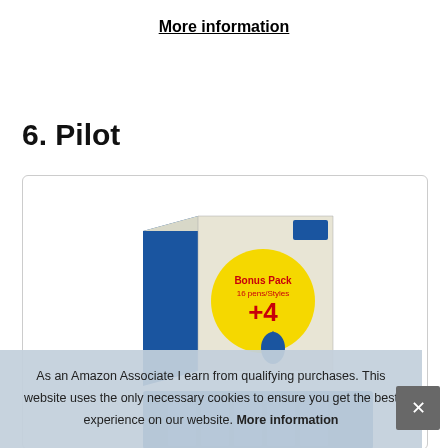More information
6. Pilot
[Figure (photo): Product photo of a Pilot pen bonus pack box — blue and cream colored box with a yellow circular sticker reading 'Bonus Pack 16 pens/Styles +4']
As an Amazon Associate I earn from qualifying purchases. This website uses the only necessary cookies to ensure you get the best experience on our website. More information